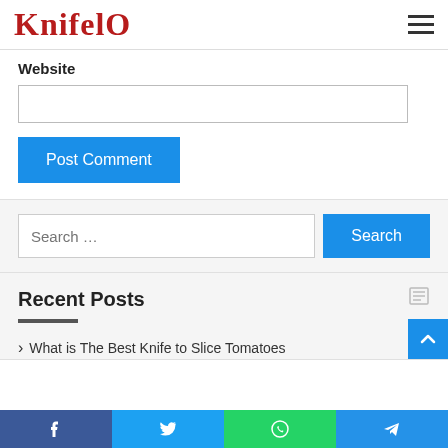KnifelO
Website
Post Comment
Search ...
Recent Posts
What is The Best Knife to Slice Tomatoes